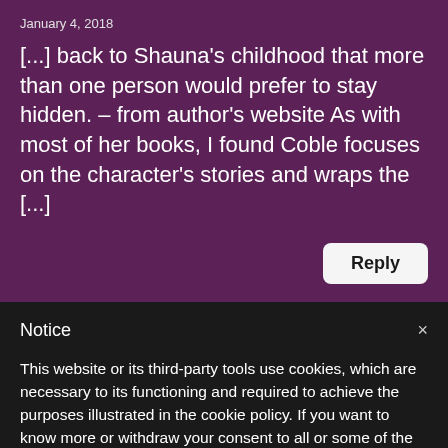January 4, 2018
[...] back to Shauna’s childhood that more than one person would prefer to stay hidden. – from author’s website As with most of her books, I found Coble focuses on the character’s stories and wraps the [...]
Notice
This website or its third-party tools use cookies, which are necessary to its functioning and required to achieve the purposes illustrated in the cookie policy. If you want to know more or withdraw your consent to all or some of the cookies, please refer to the cookie policy.
By closing this banner, scrolling this page, clicking a link or continuing to browse otherwise, you agree to the use of cookies.